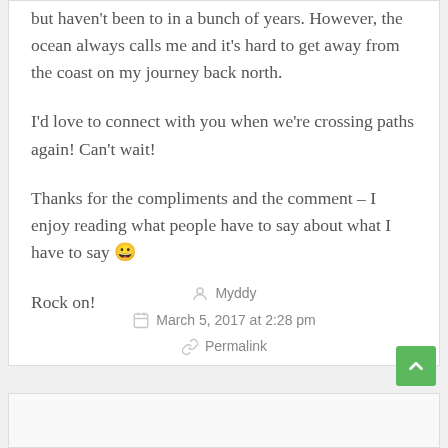but haven't been to in a bunch of years. However, the ocean always calls me and it's hard to get away from the coast on my journey back north.
I'd love to connect with you when we're crossing paths again! Can't wait!
Thanks for the compliments and the comment – I enjoy reading what people have to say about what I have to say 😀
Rock on!
Myddy
March 5, 2017 at 2:28 pm
Permalink